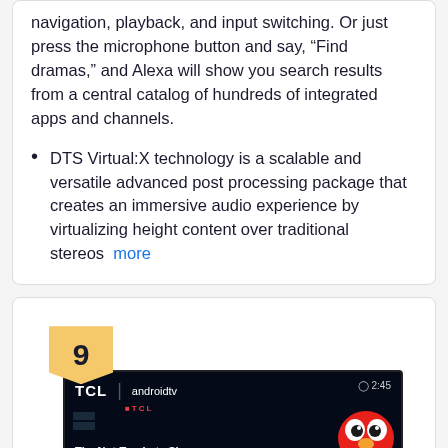navigation, playback, and input switching. Or just press the microphone button and say, “Find dramas,” and Alexa will show you search results from a central catalog of hundreds of integrated apps and channels.
DTS Virtual:X technology is a scalable and versatile advanced post processing package that creates an immersive audio experience by virtualizing height content over traditional stereos  more
9
[Figure (screenshot): TCL Android TV screen showing 'The Not-Too-Late Show with Elmo' with Elmo character visible on the right side of the screen. Time shows 2:45.]